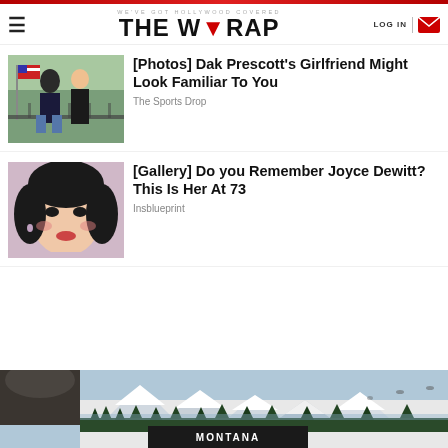THE WRAP — WE'VE GOT HOLLYWOOD COVERED
[Figure (photo): Photo of Dak Prescott and girlfriend standing outdoors with American flag in background]
[Photos] Dak Prescott's Girlfriend Might Look Familiar To You
The Sports Drop
[Figure (photo): Portrait photo of Joyce Dewitt with dark hair]
[Gallery] Do you Remember Joyce Dewitt? This Is Her At 73
Insblueprint
[Figure (photo): Partial image of a person with mountains and landscape in the background; Montana tourism banner at bottom]